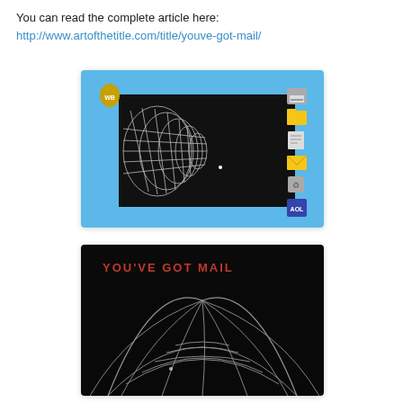You can read the complete article here:
http://www.artofthetitle.com/title/youve-got-mail/
[Figure (screenshot): Screenshot of a Windows desktop UI with a light blue background showing a 3D wireframe globe/tunnel animation in a black video window, with desktop icons on the right side including a printer, folder, document, envelope, and recycle bin icons, and a Warner Bros shield logo in the top-left.]
[Figure (screenshot): Movie title card on black background with 'YOU'VE GOT MAIL' text in red/orange letters at the top left, and a 3D wireframe globe rendered in white lines on black below.]